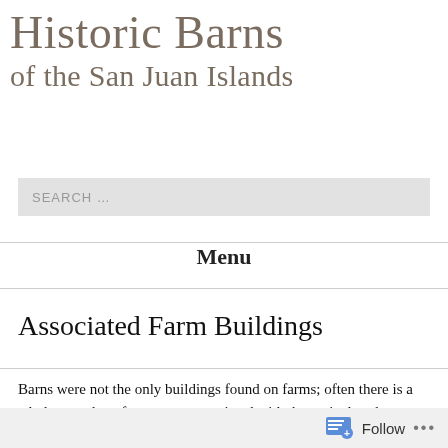Historic Barns of the San Juan Islands
SEARCH ...
Menu
Associated Farm Buildings
Barns were not the only buildings found on farms; often there is a whole complex of structures associated with the agricultural activities on a farm.  This section describes various common associated farm buildings.